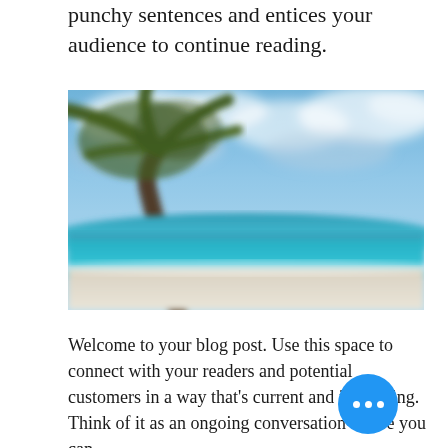punchy sentences and entices your audience to continue reading.
[Figure (photo): Blurred tropical beach scene with a palm tree bending in the wind, turquoise ocean water, white sand beach, and blue sky with clouds.]
Welcome to your blog post. Use this space to connect with your readers and potential customers in a way that's current and interesting. Think of it as an ongoing conversation where you can...